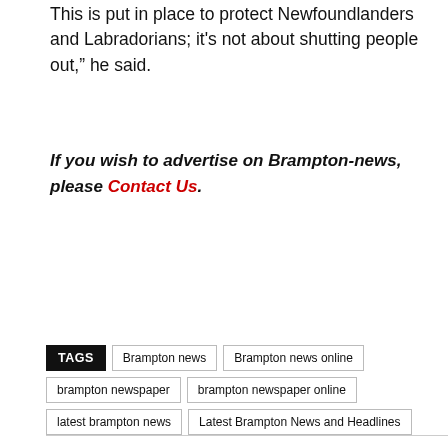This is put in place to protect Newfoundlanders and Labradorians; it's not about shutting people out," he said.
If you wish to advertise on Brampton-news, please Contact Us.
TAGS  Brampton news  Brampton news online  brampton newspaper  brampton newspaper online  latest brampton news  Latest Brampton News and Headlines